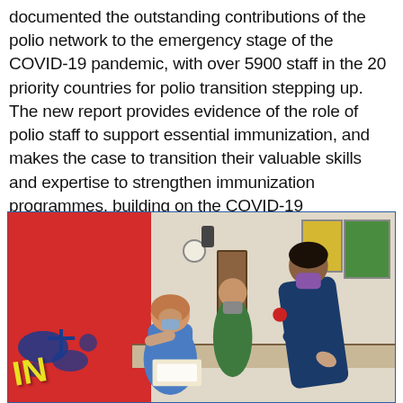documented the outstanding contributions of the polio network to the emergency stage of the COVID-19 pandemic, with over 5900 staff in the 20 priority countries for polio transition stepping up. The new report provides evidence of the role of polio staff to support essential immunization, and makes the case to transition their valuable skills and expertise to strengthen immunization programmes, building on the COVID-19 experience.
[Figure (photo): Photo of a healthcare setting, likely in Southeast Asia. On the left is a bright red banner/backdrop with yellow text and blue paint splash design. In the center and right, a woman wearing a hijab and face mask is seated at a table while a healthcare worker in navy blue uniform and purple face mask leans over to assist her. Another person in green is visible in the background. A door, wall posters, and a clock are visible in the background.]